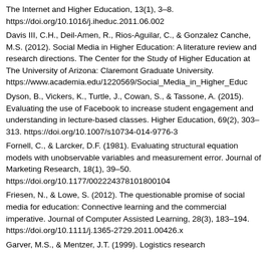The Internet and Higher Education, 13(1), 3–8. https://doi.org/10.1016/j.iheduc.2011.06.002
Davis III, C.H., Deil-Amen, R., Rios-Aguilar, C., & Gonzalez Canche, M.S. (2012). Social Media in Higher Education: A literature review and research directions. The Center for the Study of Higher Education at The University of Arizona: Claremont Graduate University. https://www.academia.edu/1220569/Social_Media_in_Higher_Educ
Dyson, B., Vickers, K., Turtle, J., Cowan, S., & Tassone, A. (2015). Evaluating the use of Facebook to increase student engagement and understanding in lecture-based classes. Higher Education, 69(2), 303–313. https://doi.org/10.1007/s10734-014-9776-3
Fornell, C., & Larcker, D.F. (1981). Evaluating structural equation models with unobservable variables and measurement error. Journal of Marketing Research, 18(1), 39–50. https://doi.org/10.1177/002224378101800104
Friesen, N., & Lowe, S. (2012). The questionable promise of social media for education: Connective learning and the commercial imperative. Journal of Computer Assisted Learning, 28(3), 183–194. https://doi.org/10.1111/j.1365-2729.2011.00426.x
Garver, M.S., & Mentzer, J.T. (1999). Logistics research